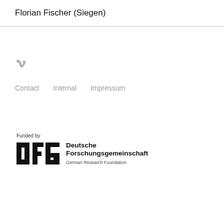Florian Fischer (Siegen)
[Figure (logo): Vimeo 'v' icon in grey]
Contact   Internal   Impressum
Funded by
[Figure (logo): DFG logo with text: Deutsche Forschungsgemeinschaft, German Research Foundation]